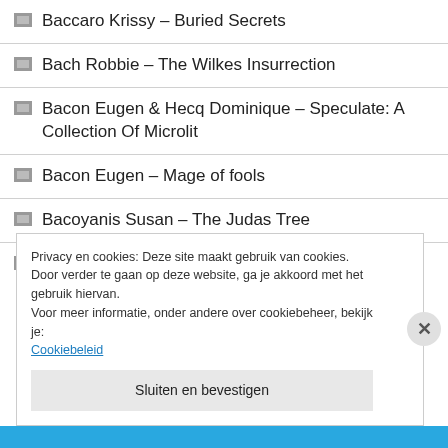Baccaro Krissy – Buried Secrets
Bach Robbie – The Wilkes Insurrection
Bacon Eugen & Hecq Dominique – Speculate: A Collection Of Microlit
Bacon Eugen – Mage of fools
Bacoyanis Susan – The Judas Tree
Badani Sejal – The Storyteller's Secret
Privacy en cookies: Deze site maakt gebruik van cookies. Door verder te gaan op deze website, ga je akkoord met het gebruik hiervan. Voor meer informatie, onder andere over cookiebeheer, bekijk je: Cookiebeleid
Sluiten en bevestigen